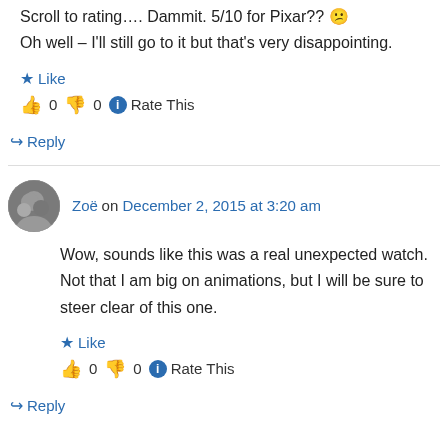Scroll to rating…. Dammit. 5/10 for Pixar?? Oh well – I'll still go to it but that's very disappointing.
Like
👍 0 👎 0 ℹ Rate This
↪ Reply
Zoë on December 2, 2015 at 3:20 am
Wow, sounds like this was a real unexpected watch. Not that I am big on animations, but I will be sure to steer clear of this one.
Like
👍 0 👎 0 ℹ Rate This
↪ Reply